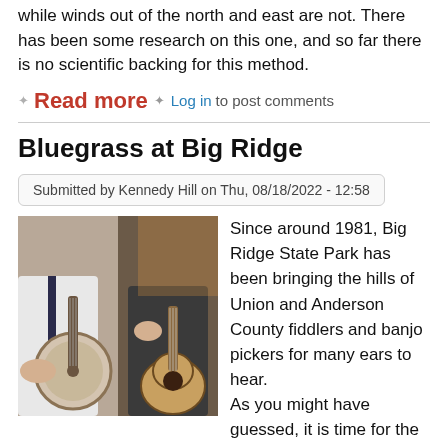while winds out of the north and east are not. There has been some research on this one, and so far there is no scientific backing for this method.
Read more · Log in to post comments
Bluegrass at Big Ridge
Submitted by Kennedy Hill on Thu, 08/18/2022 - 12:58
[Figure (photo): Two people playing banjo and acoustic guitar outdoors]
Since around 1981, Big Ridge State Park has been bringing the hills of Union and Anderson County fiddlers and banjo pickers for many ears to hear. As you might have guessed, it is time for the annual Big Ridge Bluegrass Festival. Every year, usually on the third Friday of August, families and locals have...